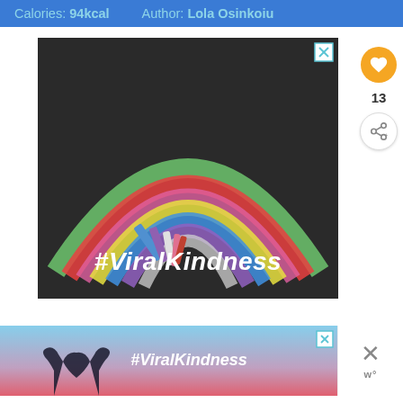Calories: 94kcal   Author: Lola Osinkoiu
[Figure (photo): Chalk rainbow drawn on dark pavement with chalk sticks visible, overlaid with bold italic text '#ViralKindness' in white]
13
[Figure (photo): Bottom banner ad showing silhouette of hands forming heart shape against sunset sky, with '#ViralKindness' text in white]